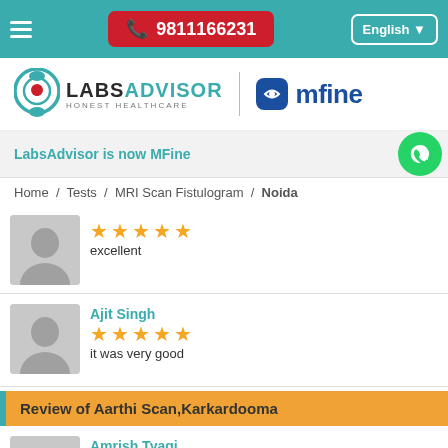☎ 9811166231  English
[Figure (logo): LabsAdvisor Honest Healthcare logo and MFine logo]
LabsAdvisor is now MFine
Home / Tests / MRI Scan Fistulogram / Noida
★★★★★ excellent
Ajit Singh ★★★★★ it was very good
Review of Aarthi Scan,Karkardooma
Amrish Tyagi ★★★★★ Great